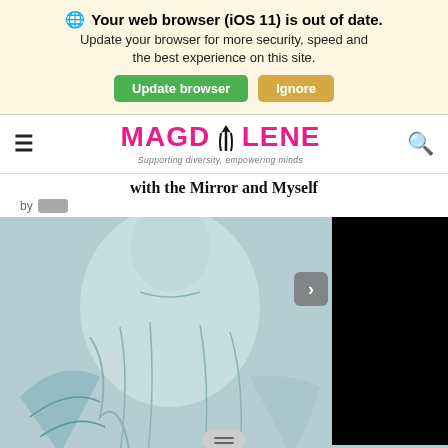🌐 Your web browser (iOS 11) is out of date. Update your browser for more security, speed and the best experience on this site.
Update browser | Ignore
MAGDOLENE – Supporting diversity, empowering minds
with the Mirror and Myself
by
[Figure (photo): Partial view of a light blue/teal statue artwork image with a black video player overlay on the right side]